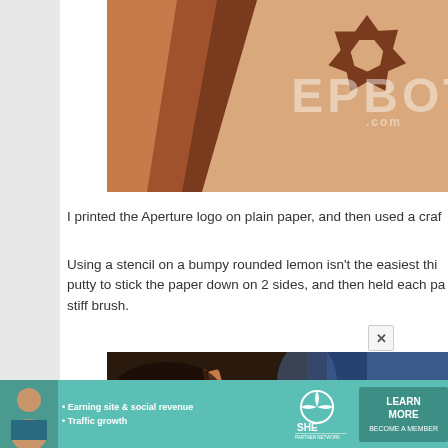[Figure (photo): Close-up of leather goods with an Aperture logo (camera shutter design) cut into light tan leather, with darker brown leather pieces visible. EPBOT.com watermark overlaid.]
I printed the Aperture logo on plain paper, and then used a craf
Using a stencil on a bumpy rounded lemon isn't the easiest thi... putty to stick the paper down on 2 sides, and then held each pa... stiff brush.
[Figure (photo): Blurry close-up photo showing a brush or tool being used on a surface, with blue background blur visible.]
[Figure (infographic): SHE Media Partner Network advertisement banner. Shows a woman, bullet points 'Earning site & social revenue' and 'Traffic growth', SHE logo, and a teal 'LEARN MORE' button with 'BECOME A MEMBER' text.]